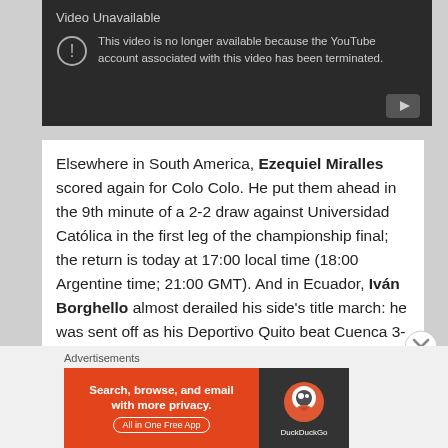[Figure (screenshot): YouTube video unavailable error screen with dark background showing 'Video Unavailable' title, exclamation circle icon, and message: 'This video is no longer available because the YouTube account associated with this video has been terminated.']
Elsewhere in South America, Ezequiel Miralles scored again for Colo Colo. He put them ahead in the 9th minute of a 2-2 draw against Universidad Católica in the first leg of the championship final; the return is today at 17:00 local time (18:00 Argentine time; 21:00 GMT). And in Ecuador, Iván Borghello almost derailed his side's title march: he was sent off as his Deportivo Quito beat Cuenca 3-2 at home, for
Advertisements
[Figure (screenshot): DuckDuckGo advertisement banner with orange left side reading 'Search, browse, and email with more privacy. All in One Free App' and dark right side with DuckDuckGo logo]